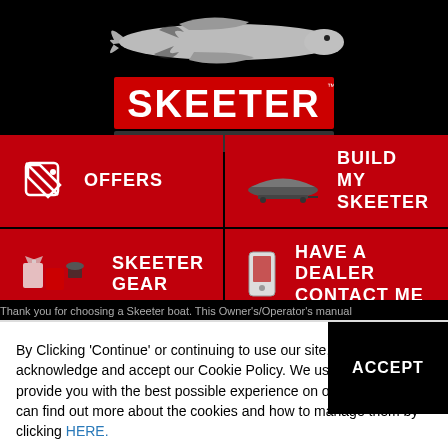[Figure (logo): Skeeter Performance Fishing Boats logo with fish silhouette above red SKEETER text and 'PERFORMANCE FISHING BOATS' tagline bar]
[Figure (screenshot): Navigation grid with four red cells: OFFERS (tag icon), BUILD MY SKEETER (boat image), SKEETER GEAR (apparel/gear image), HAVE A DEALER CONTACT ME (phone icon)]
Thank you for choosing a Skeeter boat. This Owner's/Operator's manual
By Clicking 'Continue' or continuing to use our site, you acknowledge and accept our Cookie Policy. We use cookies to provide you with the best possible experience on our website. You can find out more about the cookies and how to manage them by clicking HERE.
ACCEPT